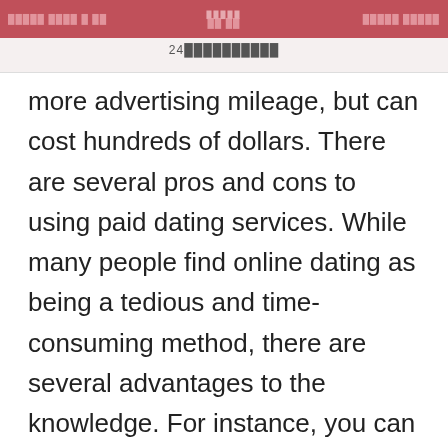24xxxxxxxxxx
more advertising mileage, but can cost hundreds of dollars. There are several pros and cons to using paid dating services. While many people find online dating as being a tedious and time-consuming method, there are several advantages to the knowledge. For instance, you can expect to meet more people with comparable interests, producing online dating more efficient. The downside is the fact it can be difficult to get the right partner.